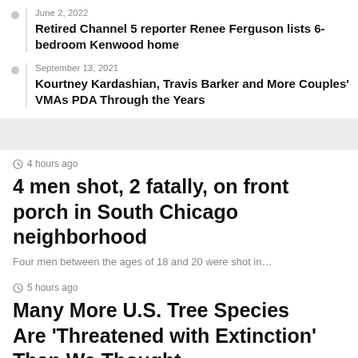June 2, 2022
Retired Channel 5 reporter Renee Ferguson lists 6-bedroom Kenwood home
September 13, 2021
Kourtney Kardashian, Travis Barker and More Couples' VMAs PDA Through the Years
4 hours ago
4 men shot, 2 fatally, on front porch in South Chicago neighborhood
Four men between the ages of 18 and 20 were shot in…
5 hours ago
Many More U.S. Tree Species Are 'Threatened with Extinction' Than We Thought
MediaNews Group/East Bay Times via Getty ImagesGetty Images A